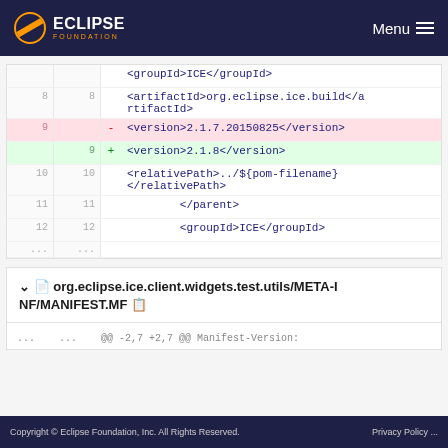Eclipse Foundation — Menu
| old | new | sign | code |
| --- | --- | --- | --- |
|  |  |  | <groupId>ICE</groupId> |
| 8 | 8 |  | <artifactId>org.eclipse.ice.build</artifactId> |
| 9 |  | - | <version>2.1.7.20150825</version> |
|  | 9 | + | <version>2.1.8</version> |
| 10 | 10 |  | <relativePath>../${pom-filename}</relativePath> |
| 11 | 11 |  |         </parent> |
| 12 | 12 |  |         <groupId>ICE</groupId> |
| ... | ... |  |  |
org.eclipse.ice.client.widgets.test.utils/META-INF/MANIFEST.MF
@@ -2,7 +2,7 @@ Manifest-Version:
Copyright © Eclipse Foundation, Inc. All Rights Reserved.   Privacy Policy ...